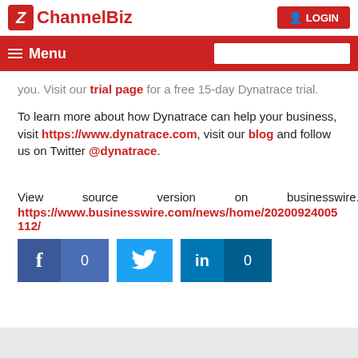[Figure (logo): ChannelBiz logo with red Z icon and red text, plus LOGIN button on right]
Menu [navigation bar with search box]
you. Visit our trial page for a free 15-day Dynatrace trial.
To learn more about how Dynatrace can help your business, visit https://www.dynatrace.com, visit our blog and follow us on Twitter @dynatrace.
View source version on businesswire.com: https://www.businesswire.com/news/home/20200924005112/
[Figure (infographic): Social share buttons: Facebook with 0 count, Twitter bird icon, LinkedIn with 0 count]